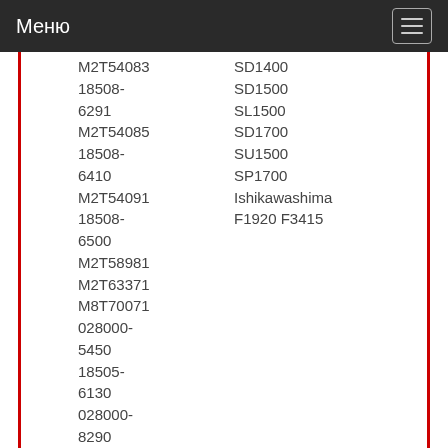Меню
M2T54083
18508-6291
M2T54085
18508-6410
M2T54091
18508-6500
M2T58981
M2T63371
M8T70071
028000-5450
18505-6130
028000-8290
18508-6240
SD1400
SD1500
SL1500
SD1700
SU1500
SP1700
Ishikawashima
F1920 F3415